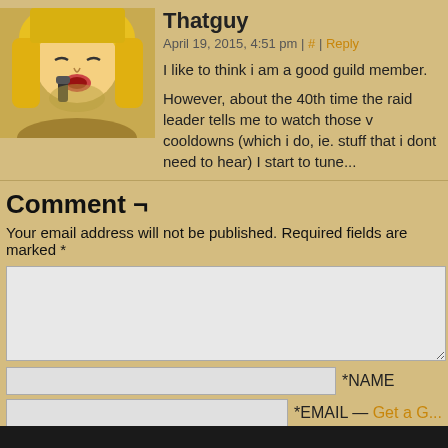Thatguy
April 19, 2015, 4:51 pm | # | Reply
I like to think i am a good guild member.
However, about the 40th time the raid leader tells me to watch those v... cooldowns (which i do, ie. stuff that i dont need to hear) I start to tune...
Comment ¬
Your email address will not be published. Required fields are marked *
*NAME
*EMAIL — Get a G...
Website URL
Post Comment
This site uses Akismet to reduce spam. Learn how your comment data is processed.